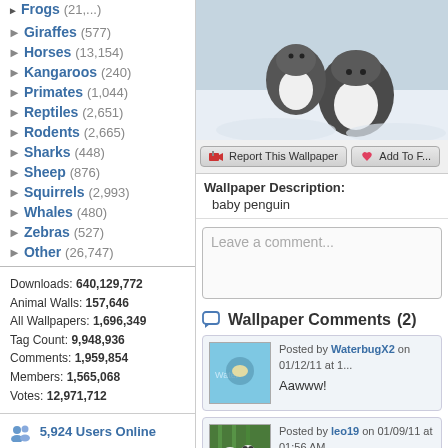Frogs (21,?)
Giraffes (577)
Horses (13,154)
Kangaroos (240)
Primates (1,044)
Reptiles (2,651)
Rodents (2,665)
Sharks (448)
Sheep (876)
Squirrels (2,993)
Whales (480)
Zebras (527)
Other (26,747)
Downloads: 640,129,772
Animal Walls: 157,646
All Wallpapers: 1,696,349
Tag Count: 9,948,936
Comments: 1,959,854
Members: 1,565,068
Votes: 12,971,712
5,924 Users Online
103 members, 5,821 guests
AlvaradoSulwen, Anderlecht, artinconstruction, Astro, BestPsychic000, bmpressurewashing2, Boatent98, boliou, brandbajade, bridgecounseling, brighterfinance, CarrollDentistry, cell-phone-hacking, chatonfragile, Cleaners567, ColbyRichardson,
[Figure (photo): Baby penguin photo, cropped top portion showing gray fuzzy penguin in snow]
Report This Wallpaper   Add To F...
Wallpaper Description:
  baby penguin
Leave a comment...
Wallpaper Comments (2)
Posted by WaterbugX2 on 01/12/11 at 1...
Aawww!
Posted by leo19 on 01/09/11 at 01:56 AM
So cute!